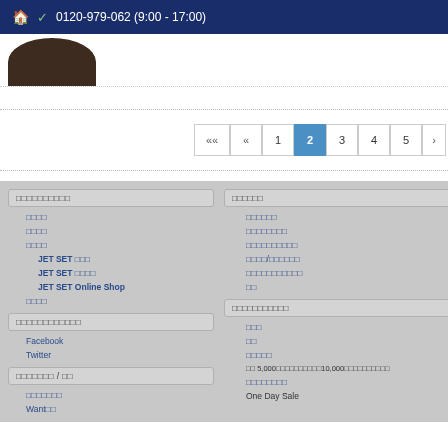🏠 ✓ 0120-979-062 (9:00 - 17:00)
[Figure (photo): Partial dark brown/black circular object (top of a hat or similar) visible at top left, cropped at bottom of white area]
«« « 1 2 3 4 5 (pagination)
□□□□□□□□□□ (left column section header)
□□□□
□□□□
□□□□
JET SET □□□
JET SET □□□□
JET SET Online Shop
□□□□
□□□□□□□□□□□□
Facebook
Twitter
□□□□□□□ / □□
□□□□□□□
Want□□
□□□□□□ (right column section header)
□□□□□□
□□□□□□□□
□□□□□□□□□□
□□□□/□□□□□□
□□□□□□□□□□□
□□
□□□□□□□□□□□
□□□
□□
□□□□□
□□ 5,000□□□□□□□□□□10,000□□□□□□□□□□
□□□□□□□□
One Day Sale